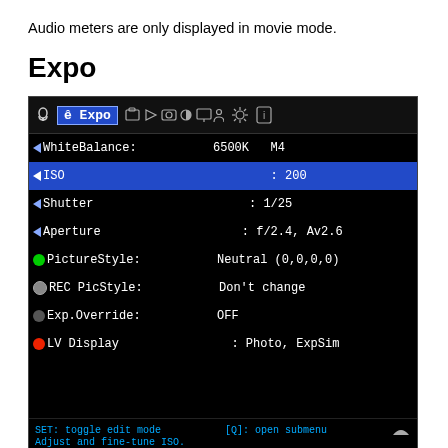Audio meters are only displayed in movie mode.
Expo
[Figure (screenshot): Camera menu screenshot showing Expo settings: WhiteBalance 6500K M4, ISO 200 (selected/highlighted), Shutter 1/25, Aperture f/2.4 Av2.6, PictureStyle Neutral (0,0,0,0), REC PicStyle Don't change, Exp.Override OFF, LV Display Photo ExpSim. Status bar shows SET: toggle edit mode, [Q]: open submenu, Adjust and fine-tune ISO.]
Adjusting the exposure parameters. Most of these settings only work in Manual (photo and video), and some of them work in P, Av and Tv too.